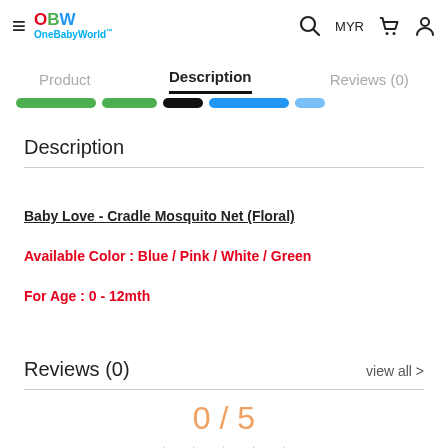OneBabyWorld — Product | Description | Reviews (0) | MYR
Description
Baby Love - Cradle Mosquito Net (Floral)
Available Color : Blue / Pink / White / Green
For Age : 0 - 12mth
Reviews (0)
view all >
0 / 5